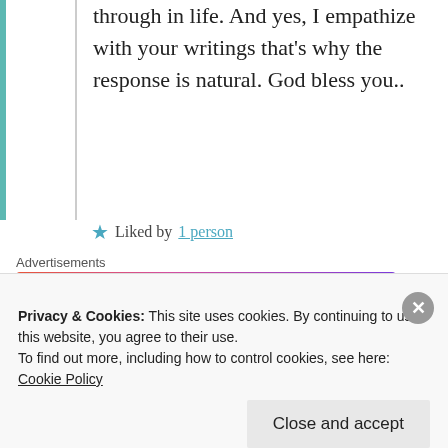through in life. And yes, I empathize with your writings that's why the response is natural. God bless you..
★ Liked by 1 person
Advertisements
[Figure (illustration): Fandom advertisement banner with colorful gradient background from orange/red to purple, featuring a sailboat sticker, skull, dice, globe, and the word FANDOM in large black letters with white doodles throughout.]
Privacy & Cookies: This site uses cookies. By continuing to use this website, you agree to their use. To find out more, including how to control cookies, see here: Cookie Policy
Close and accept